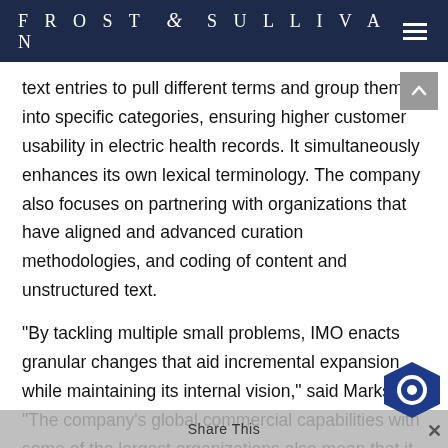FROST & SULLIVAN
text entries to pull different terms and group them into specific categories, ensuring higher customer usability in electric health records. It simultaneously enhances its own lexical terminology. The company also focuses on partnering with organizations that have aligned and advanced curation methodologies, and coding of content and unstructured text.
“By tackling multiple small problems, IMO enacts granular changes that aid incremental expansion while maintaining its internal vision,” said Marks. “The company’s global commercial capabilities with some of the largest organizations also mean that it can help educate developing markets on specific use cases